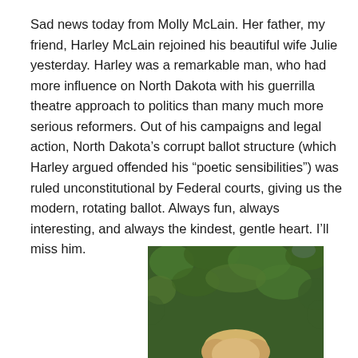Sad news today from Molly McLain. Her father, my friend, Harley McLain rejoined his beautiful wife Julie yesterday. Harley was a remarkable man, who had more influence on North Dakota with his guerrilla theatre approach to politics than many much more serious reformers. Out of his campaigns and legal action, North Dakota’s corrupt ballot structure (which Harley argued offended his “poetic sensibilities”) was ruled unconstitutional by Federal courts, giving us the modern, rotating ballot. Always fun, always interesting, and always the kindest, gentle heart. I’ll miss him.
[Figure (photo): Partial photo of a person outdoors with green leafy background visible, bottom portion cropped. Shows top of a person's head with foliage behind them.]